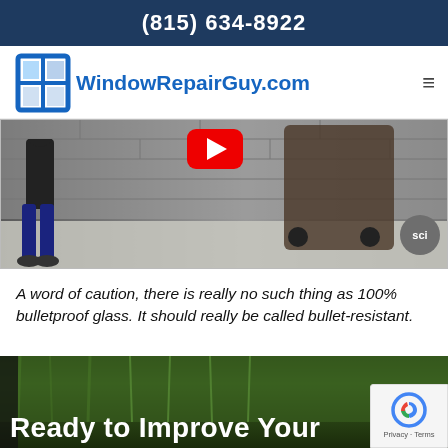(815) 634-8922
[Figure (logo): WindowRepairGuy.com logo with blue window frame icon and blue text]
[Figure (screenshot): Video thumbnail showing a person in a room with concrete block wall background, equipment cart on the right, a red YouTube play button, and a sci control button]
A word of caution, there is really no such thing as 100% bulletproof glass. It should really be called bullet-resistant.
[Figure (photo): Bottom section showing green grass/turf with dark overlay and 'Ready to Improve Your' text in large white bold font, with reCAPTCHA badge on bottom right]